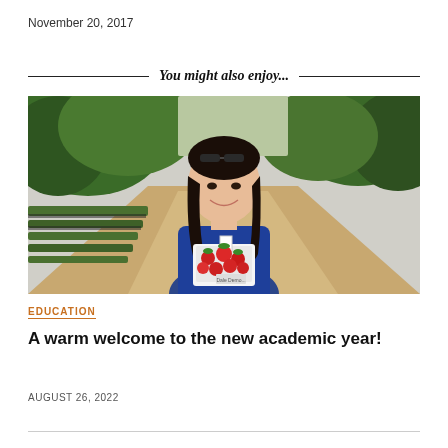November 20, 2017
You might also enjoy...
[Figure (photo): Young woman smiling outdoors, holding a basket of strawberries, with green trees and a sandy path in the background]
EDUCATION
A warm welcome to the new academic year!
AUGUST 26, 2022